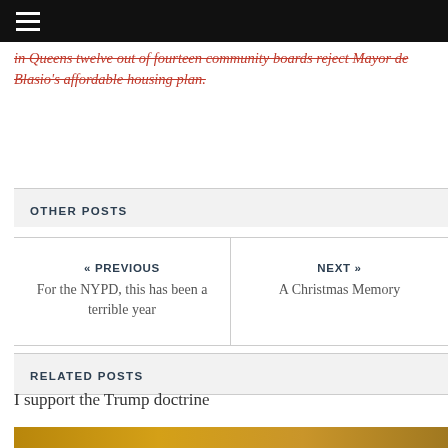≡
in Queens twelve out of fourteen community boards reject Mayor de Blasio's affordable housing plan.
OTHER POSTS
« PREVIOUS
For the NYPD, this has been a terrible year
NEXT »
A Christmas Memory
RELATED POSTS
I support the Trump doctrine
[Figure (photo): Partial bottom image, gold/brown tones, cropped]